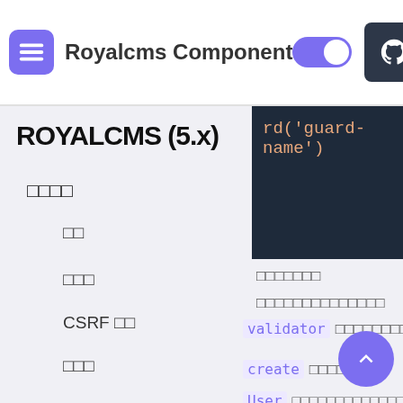Royalcms Component — header bar with toggle, GitHub button, version 5-x
ROYALCMS (5.x)
□□□□
□□
□□□
CSRF □□
□□□
□□
□□
□□
URL
rd('guard-name')  code block
□□□□□□□
□□□□□□□□□□□□□□
validator  □□□□□□□□
create  □□□□□□
User  □□□□□□□□□□□□□□□□